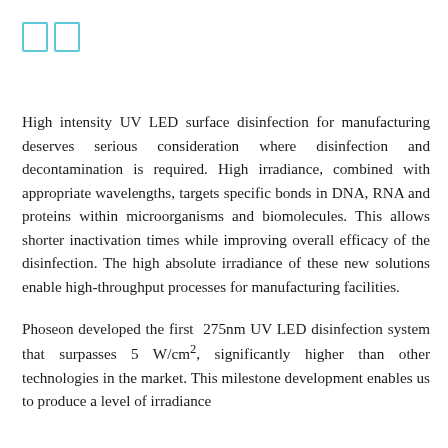[ ] [ ]
High intensity UV LED surface disinfection for manufacturing deserves serious consideration where disinfection and decontamination is required. High irradiance, combined with appropriate wavelengths, targets specific bonds in DNA, RNA and proteins within microorganisms and biomolecules. This allows shorter inactivation times while improving overall efficacy of the disinfection. The high absolute irradiance of these new solutions enable high-throughput processes for manufacturing facilities.
Phoseon developed the first 275nm UV LED disinfection system that surpasses 5 W/cm², significantly higher than other technologies in the market. This milestone development enables us to produce a level of irradiance